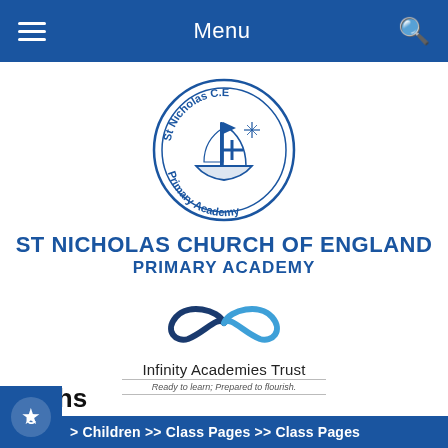Menu
[Figure (logo): St Nicholas C.E Primary Academy circular school crest logo with ship and cross]
ST NICHOLAS CHURCH OF ENGLAND PRIMARY ACADEMY
[Figure (logo): Infinity Academies Trust logo with infinity symbol]
Infinity Academies Trust
Ready to learn; Prepared to flourish.
Maths
> Children >> Class Pages >> Class Pages